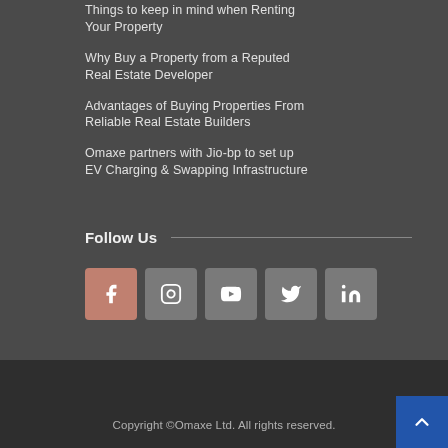Things to keep in mind when Renting Your Property
Why Buy a Property from a Reputed Real Estate Developer
Advantages of Buying Properties From Reliable Real Estate Builders
Omaxe partners with Jio-bp to set up EV Charging & Swapping Infrastructure
Follow Us
[Figure (infographic): Row of social media icon buttons: Facebook (salmon/pink), Instagram (gray), YouTube (gray), Twitter (gray), LinkedIn (gray)]
Copyright ©Omaxe Ltd. All rights reserved.